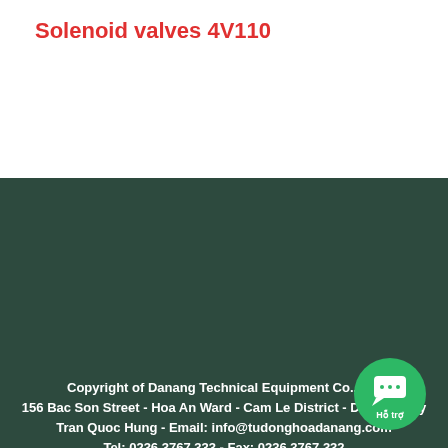Solenoid valves 4V110
Copyright of Danang Technical Equipment Co., Ltd
156 Bac Son Street - Hoa An Ward - Cam Le District - Danang City
Tran Quoc Hung - Email: info@tudonghoadanang.com
Tel: 0236 3767 333 - Fax: 0236 3767 332
Business license number 0401504646 was granted on 13/07/2012 by DPI DN
[Figure (infographic): Five social media icons: Facebook, Tumblr, Twitter, LinkedIn, YouTube — white circle outlines on dark green background]
[Figure (infographic): Green circular support/chat button with chat icon and 'Hỗ trợ' label in bottom-right corner]